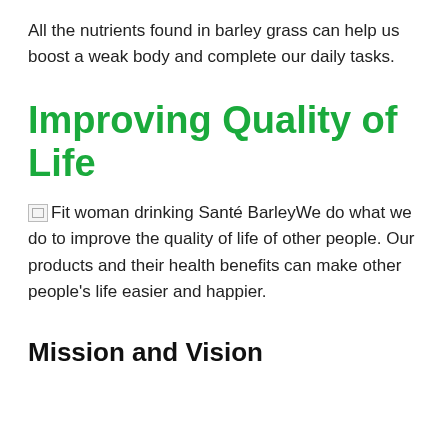All the nutrients found in barley grass can help us boost a weak body and complete our daily tasks.
Improving Quality of Life
Fit woman drinking Santé BarleyWe do what we do to improve the quality of life of other people. Our products and their health benefits can make other people's life easier and happier.
Mission and Vision